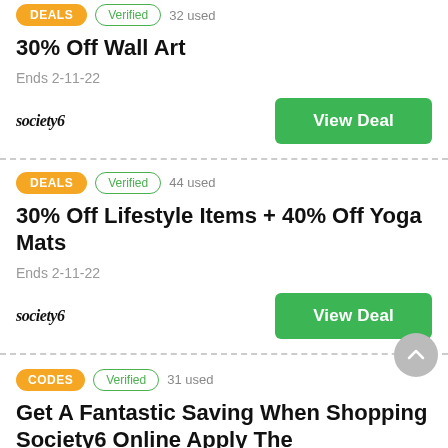DEALS | Verified | 32 used | 30% Off Wall Art | Ends 2-11-22 | society6 | View Deal
DEALS | Verified | 44 used | 30% Off Lifestyle Items + 40% Off Yoga Mats | Ends 2-11-22 | society6 | View Deal
CODES | Verified | 31 used | Get A Fantastic Saving When Shopping Society6 Online Apply The